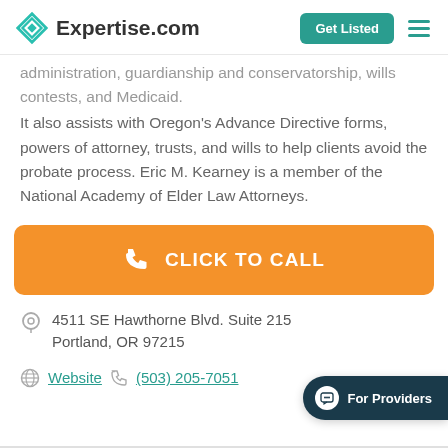Expertise.com | Get Listed
administration, guardianship and conservatorship, wills contests, and Medicaid. It also assists with Oregon's Advance Directive forms, powers of attorney, trusts, and wills to help clients avoid the probate process. Eric M. Kearney is a member of the National Academy of Elder Law Attorneys.
[Figure (other): Orange 'CLICK TO CALL' button with phone icon]
4511 SE Hawthorne Blvd. Suite 215 Portland, OR 97215
Website  (503) 205-7051